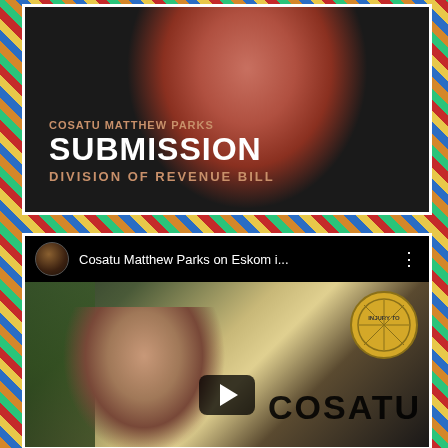[Figure (screenshot): Video thumbnail showing COSATU Matthew Parks submission on Division of Revenue Bill. Person wearing red shirt with text overlay: 'COSATU MATTHEW PARKS', 'SUBMISSION', 'DIVISION OF REVENUE BILL']
[Figure (screenshot): YouTube video player showing 'Cosatu Matthew Parks on Eskom i...' with Matthew Parks speaking in front of COSATU banner/logo. Video has play button overlay.]